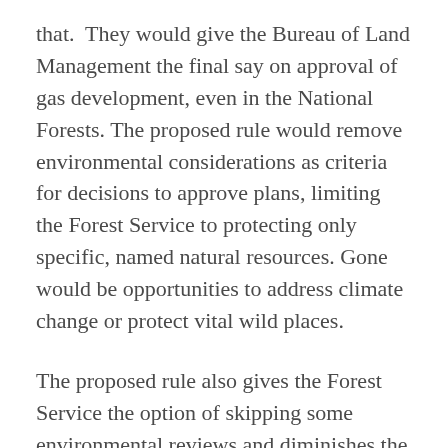that.  They would give the Bureau of Land Management the final say on approval of gas development, even in the National Forests. The proposed rule would remove environmental considerations as criteria for decisions to approve plans, limiting the Forest Service to protecting only specific, named natural resources. Gone would be opportunities to address climate change or protect vital wild places.
The proposed rule also gives the Forest Service the option of skipping some environmental reviews and diminishes the opportunities for public participation.
So, does all this portend more oil and gas drilling in the National Forests, including the George